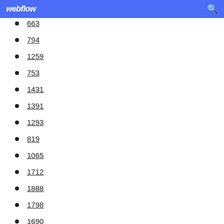webflow
663
794
1259
753
1431
1391
1293
819
1065
1712
1888
1798
1690